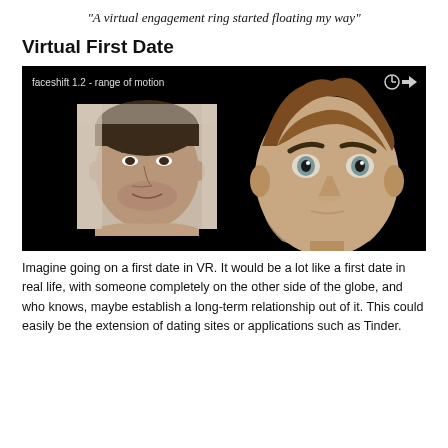“A virtual engagement ring started floating my way”
Virtual First Date
[Figure (screenshot): A video screenshot from 'faceshift 1.2 - range of motion' showing a real man's face on the left and a 3D animated character head on the right, both against a black background. The video has a clock icon and share icon in the top right corner.]
Imagine going on a first date in VR. It would be a lot like a first date in real life, with someone completely on the other side of the globe, and who knows, maybe establish a long-term relationship out of it. This could easily be the extension of dating sites or applications such as Tinder.